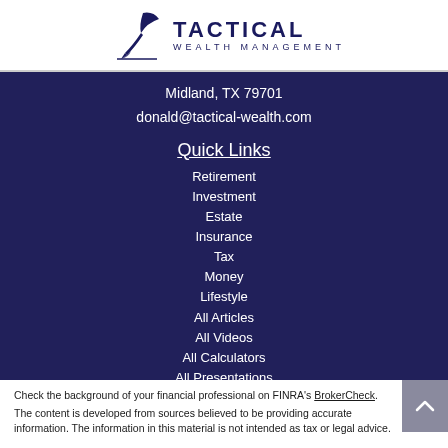TACTICAL WEALTH MANAGEMENT
Midland, TX 79701
donald@tactical-wealth.com
Quick Links
Retirement
Investment
Estate
Insurance
Tax
Money
Lifestyle
All Articles
All Videos
All Calculators
All Presentations
Check the background of your financial professional on FINRA's BrokerCheck.
The content is developed from sources believed to be providing accurate information. The information in this material is not intended as tax or legal advice.